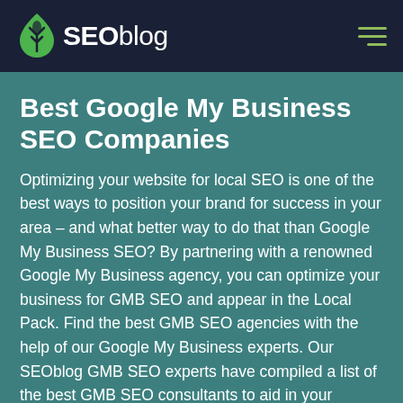SEOblog
Best Google My Business SEO Companies
Optimizing your website for local SEO is one of the best ways to position your brand for success in your area – and what better way to do that than Google My Business SEO? By partnering with a renowned Google My Business agency, you can optimize your business for GMB SEO and appear in the Local Pack. Find the best GMB SEO agencies with the help of our Google My Business experts. Our SEOblog GMB SEO experts have compiled a list of the best GMB SEO consultants to aid in your Google My Business marketing strategy. We